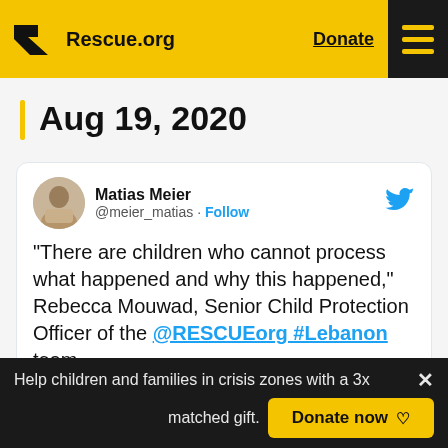Rescue.org  Donate
Aug 19, 2020
[Figure (screenshot): Embedded tweet from @meier_matias (Matias Meier) with Twitter bird icon. Tweet text: "There are children who cannot process what happened and why this happened," Rebecca Mouwad, Senior Child Protection Officer of the @RESCUEorg #Lebanon team.]
Help children and families in crisis zones with a 3x matched gift. Donate now ♡